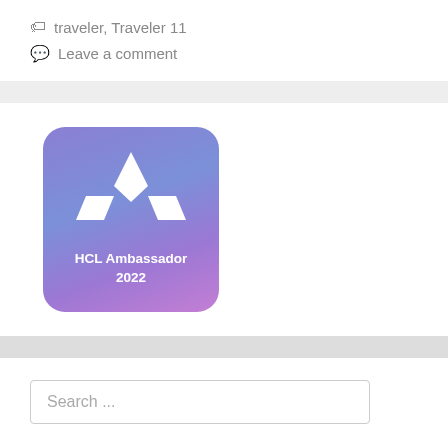🏷 traveler, Traveler 11
💬 Leave a comment
[Figure (logo): HCL Ambassador 2022 badge — rounded square with purple-to-blue gradient background, white diamond and wing logo marks, text 'HCL Ambassador 2022' in white at the bottom]
Search ...